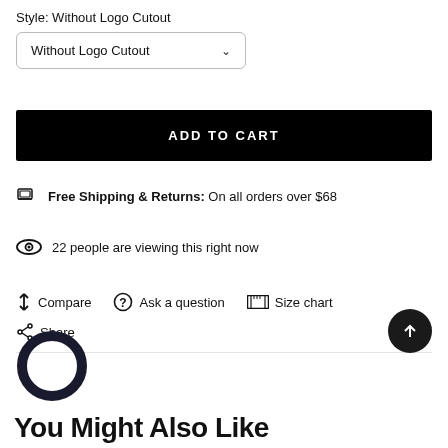Style: Without Logo Cutout
Without Logo Cutout
ADD TO CART
Free Shipping & Returns: On all orders over $68
22 people are viewing this right now
Compare
Ask a question
Size chart
Share
You Might Also Like